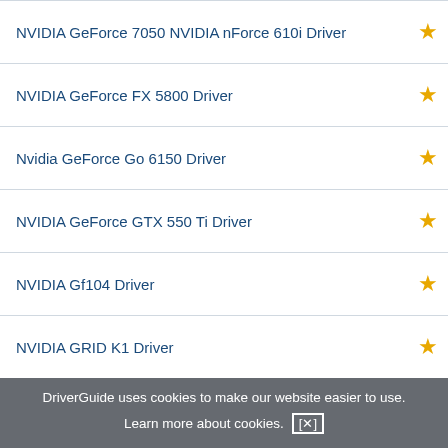NVIDIA GeForce 7050 NVIDIA nForce 610i Driver
NVIDIA GeForce FX 5800 Driver
Nvidia GeForce Go 6150 Driver
NVIDIA GeForce GTX 550 Ti Driver
NVIDIA Gf104 Driver
NVIDIA GRID K1 Driver
NVIDIA GRID K2 Driver
Viglen Unified NVIDIA Driver
DriverGuide uses cookies to make our website easier to use. Learn more about cookies. [×]